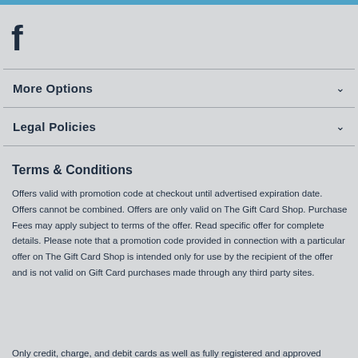[Figure (logo): Facebook 'f' logo icon in dark navy color]
More Options
Legal Policies
Terms & Conditions
Offers valid with promotion code at checkout until advertised expiration date. Offers cannot be combined. Offers are only valid on The Gift Card Shop. Purchase Fees may apply subject to terms of the offer. Read specific offer for complete details. Please note that a promotion code provided in connection with a particular offer on The Gift Card Shop is intended only for use by the recipient of the offer and is not valid on Gift Card purchases made through any third party sites.
Only credit, charge, and debit cards as well as fully registered and approved general